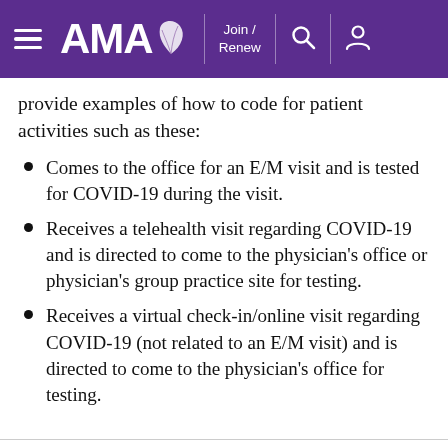AMA — Join / Renew
provide examples of how to code for patient activities such as these:
Comes to the office for an E/M visit and is tested for COVID-19 during the visit.
Receives a telehealth visit regarding COVID-19 and is directed to come to the physician's office or physician's group practice site for testing.
Receives a virtual check-in/online visit regarding COVID-19 (not related to an E/M visit) and is directed to come to the physician's office for testing.